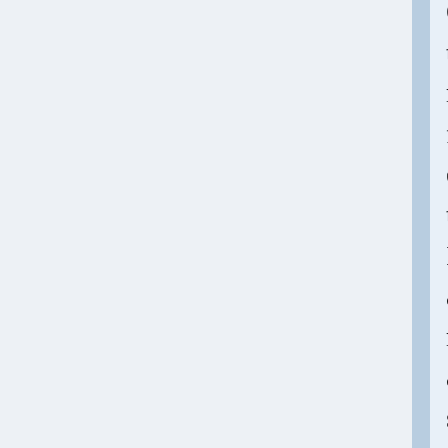QINU`""ʁUsing the model for executing tasks== In a modeling and simulation context, the tasks to execute make specific use of the various probability distributions associated with a model. <br> ===ʁ""'UNIQ--h-10--QINU`""ʁSimulation=== By definition, simulation